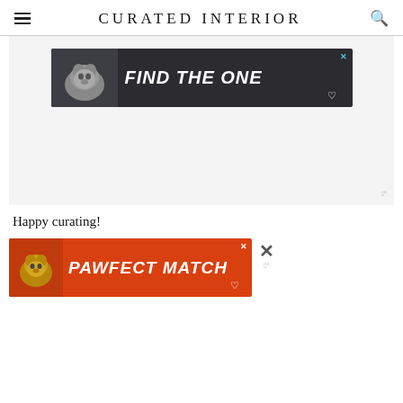CURATED INTERIOR
[Figure (screenshot): Advertisement banner with dark background showing a dog and bold italic white text 'FIND THE ONE' with a heart icon and close button]
Happy curating!
[Figure (screenshot): Advertisement banner with orange/red background showing a cat and bold italic white text 'PAWFECT MATCH' with a heart icon and close button]